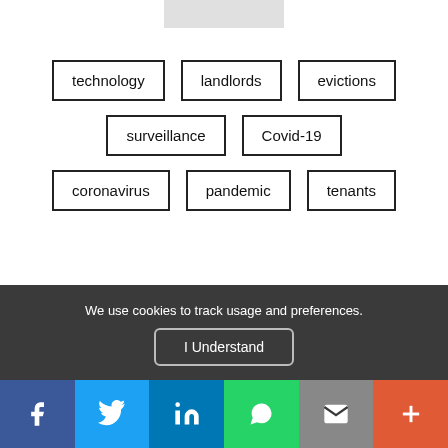[Figure (other): Small grey rectangle image at top center]
technology
landlords
evictions
surveillance
Covid-19
coronavirus
pandemic
tenants
We use cookies to track usage and preferences.
I Understand
f  Twitter  in  WhatsApp  Email  +